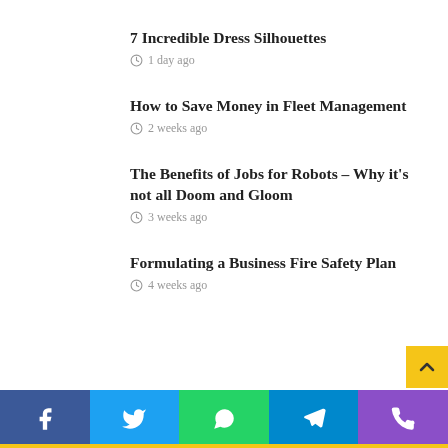7 Incredible Dress Silhouettes
1 day ago
How to Save Money in Fleet Management
2 weeks ago
The Benefits of Jobs for Robots – Why it's not all Doom and Gloom
3 weeks ago
Formulating a Business Fire Safety Plan
4 weeks ago